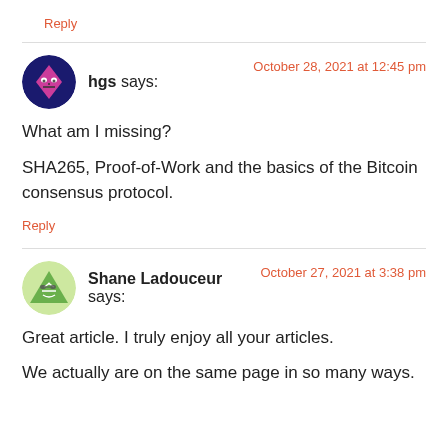Reply
hgs says:
October 28, 2021 at 12:45 pm
What am I missing?

SHA265, Proof-of-Work and the basics of the Bitcoin consensus protocol.
Reply
Shane Ladouceur says:
October 27, 2021 at 3:38 pm
Great article. I truly enjoy all your articles.
We actually are on the same page in so many ways.